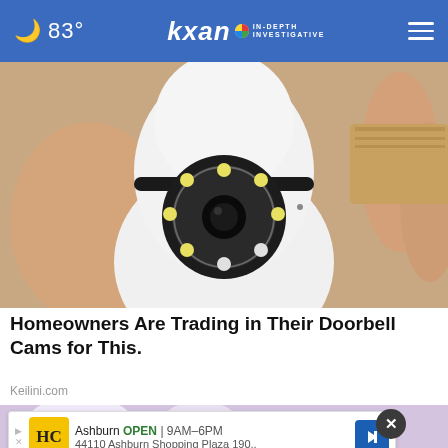🌙 83° | KXAN IN-DEPTH INVESTIGATIVE
[Figure (photo): A hand holding a small white dome-style security camera with a circular lens array containing LED lights, viewed close-up.]
Homeowners Are Trading in Their Doorbell Cams for This.
Keilini.com
[Figure (photo): Partial view of a second article/video thumbnail with a purple-tinted background.]
Ashburn OPEN | 9AM–6PM 44110 Ashburn Shopping Plaza 190,.